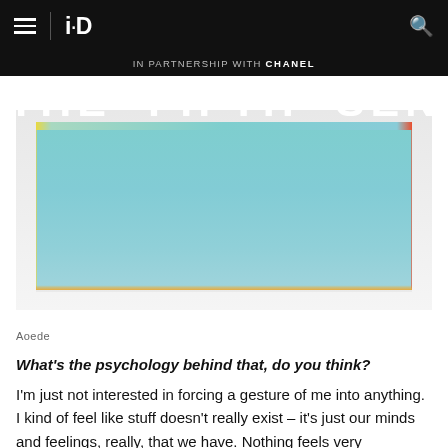i-D | IN PARTNERSHIP WITH CHANEL
THE FIFTH SENSE
[Figure (photo): Abstract pastel gradient artwork — a rectangular canvas with a smooth gradient from teal/cyan at top to light blue in the middle, with yellow and orange edges and bottom, displayed against a white/light gray background.]
Aoede
What's the psychology behind that, do you think?
I'm just not interested in forcing a gesture of me into anything. I kind of feel like stuff doesn't really exist – it's just our minds and feelings, really, that we have. Nothing feels very